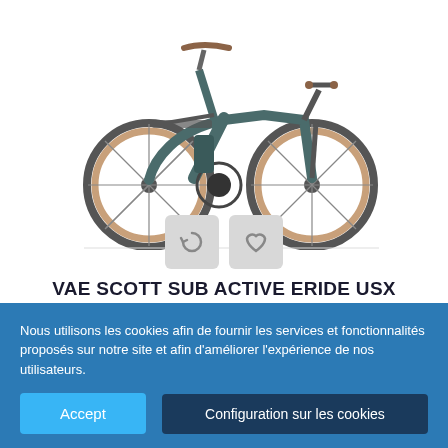[Figure (photo): A dark teal/grey step-through electric bicycle (VAE) from Scott brand, shown in side profile view. The bike has brown saddle and grips, a rear rack, large wheels with brown sidewall tires, and a battery integrated in the down tube.]
VAE SCOTT SUB ACTIVE ERIDE USX
1999,17 €
Nous utilisons les cookies afin de fournir les services et fonctionnalités proposés sur notre site et afin d'améliorer l'expérience de nos utilisateurs.